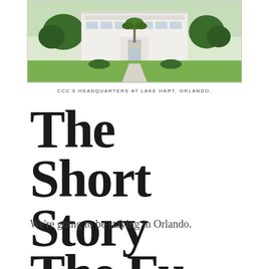[Figure (photo): Photograph of CCC's headquarters building at Lake Hart, Orlando. A large modern white building with green lawns and a palm tree in front.]
CCC'S HEADQUARTERS AT LAKE HART, ORLANDO.
The Short Story
We're going to be staying in Orlando.
The Fu